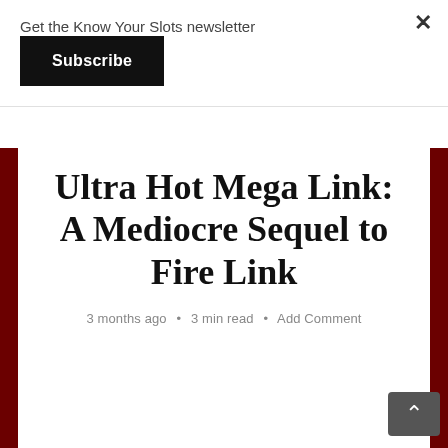Get the Know Your Slots newsletter
Subscribe
Ultra Hot Mega Link: A Mediocre Sequel to Fire Link
3 months ago • 3 min read • Add Comment